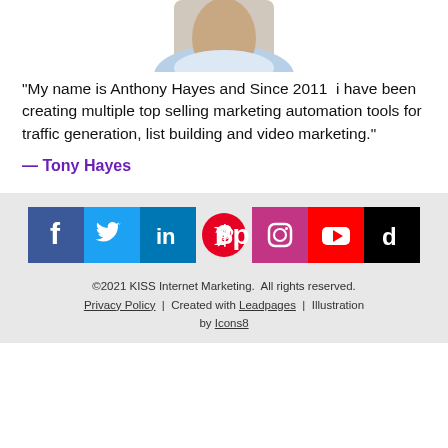[Figure (photo): Partial photo of a person (Anthony Hayes/Tony Hayes) showing the bottom of their face/neck and shoulders, wearing a light blue shirt, cropped at the top of the page]
"My name is Anthony Hayes and Since 2011  i have been creating multiple top selling marketing automation tools for traffic generation, list building and video marketing."
— Tony Hayes
[Figure (infographic): Row of social media icons: Facebook (blue), Twitter (light blue), LinkedIn (dark blue), Pinterest (red circle on white), Instagram (pink/magenta), YouTube (red), TikTok (black)]
©2021 KISS Internet Marketing.  All rights reserved.
Privacy Policy  |  Created with Leadpages  |  Illustration by Icons8